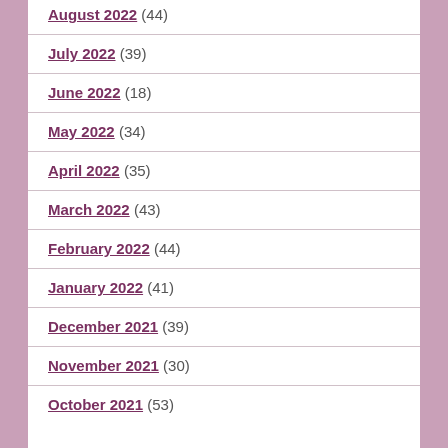August 2022 (44)
July 2022 (39)
June 2022 (18)
May 2022 (34)
April 2022 (35)
March 2022 (43)
February 2022 (44)
January 2022 (41)
December 2021 (39)
November 2021 (30)
October 2021 (53)